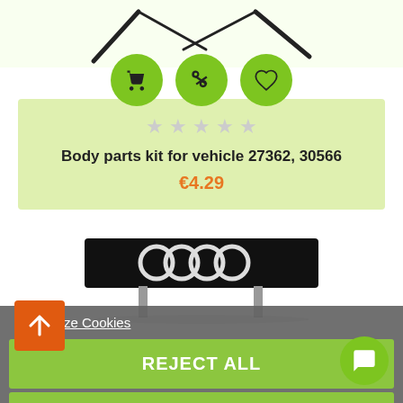[Figure (illustration): Windshield wiper blades silhouette on white/light green background]
[Figure (illustration): Three green circular icon buttons: shopping cart, scissors/tools, and heart/wishlist]
★★★★★
Body parts kit for vehicle 27362, 30566
€4.29
[Figure (photo): Audi front grille with four-ring logo on dark background]
Customize Cookies
REJECT ALL
[Figure (other): Orange back-to-top arrow button and green chat bubble button overlay]